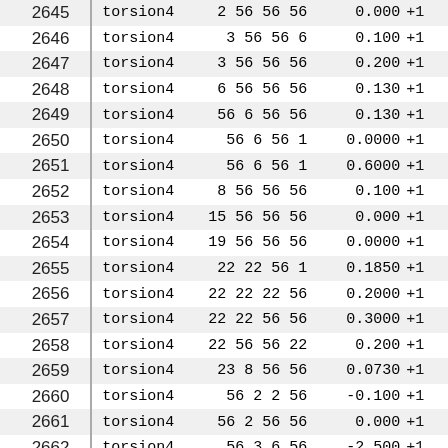| ID |  | Type | Atoms | Value | Sign |
| --- | --- | --- | --- | --- | --- |
| 2645 |  | torsion4 | 2 56 56 56 | 0.000 | +1 |
| 2646 |  | torsion4 | 3 56 56  6 | 0.100 | +1 |
| 2647 |  | torsion4 | 3 56 56 56 | 0.200 | +1 |
| 2648 |  | torsion4 | 6 56 56 56 | 0.130 | +1 |
| 2649 |  | torsion4 | 56  6 56 56 | 0.130 | +1 |
| 2650 |  | torsion4 | 56  6 56  1 | 0.0000 | +1 |
| 2651 |  | torsion4 | 56  6 56  1 | 0.6000 | +1 |
| 2652 |  | torsion4 | 8 56 56 56 | 0.100 | +1 |
| 2653 |  | torsion4 | 15 56 56 56 | 0.000 | +1 |
| 2654 |  | torsion4 | 19 56 56 56 | 0.0000 | +1 |
| 2655 |  | torsion4 | 22 22 56  1 | 0.1850 | +1 |
| 2656 |  | torsion4 | 22 22 22 56 | 0.2000 | +1 |
| 2657 |  | torsion4 | 22 22 56 56 | 0.3000 | +1 |
| 2658 |  | torsion4 | 22 56 56 22 | 0.200 | +1 |
| 2659 |  | torsion4 | 23  8 56 56 | 0.0730 | +1 |
| 2660 |  | torsion4 | 56  2  2 56 | -0.100 | +1 |
| 2661 |  | torsion4 | 56  2 56 56 | 0.000 | +1 |
| 2662 |  | torsion4 | 56  3  6 56 | -2.500 | +1 |
| 2663 |  | torsion4 | 56  8 56  1 | 0.9580 | +1 |
| 2664 |  | torsion4 | 56 22 22 22 | 0.200 | +1 |
| 2665 |  | torsion4 | 56 22 22 56 | 0.2000 | +1 |
| 2666 |  | torsion4 | 56  8 56 56 | 0.9580 | +1 |
| 2667 |  | torsion4 | 56 15 15 56 | 0.000 | +1 |